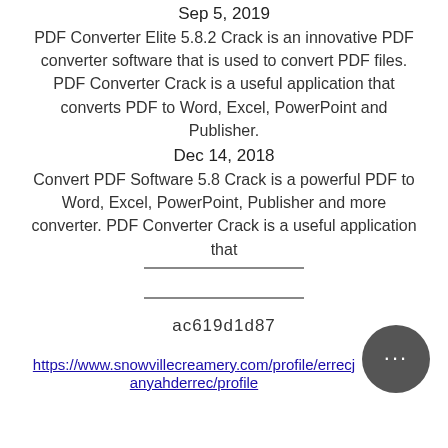Sep 5, 2019
PDF Converter Elite 5.8.2 Crack is an innovative PDF converter software that is used to convert PDF files. PDF Converter Crack is a useful application that converts PDF to Word, Excel, PowerPoint and Publisher.
Dec 14, 2018
Convert PDF Software 5.8 Crack is a powerful PDF to Word, Excel, PowerPoint, Publisher and more converter. PDF Converter Crack is a useful application that
ac619d1d87
https://www.snowvillecreamery.com/profile/errecjanyahderrec/profile